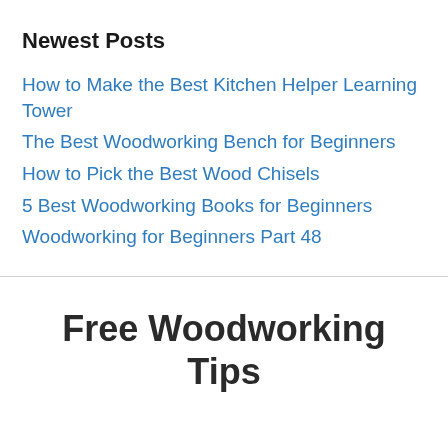Newest Posts
How to Make the Best Kitchen Helper Learning Tower
The Best Woodworking Bench for Beginners
How to Pick the Best Wood Chisels
5 Best Woodworking Books for Beginners
Woodworking for Beginners Part 48
Free Woodworking Tips